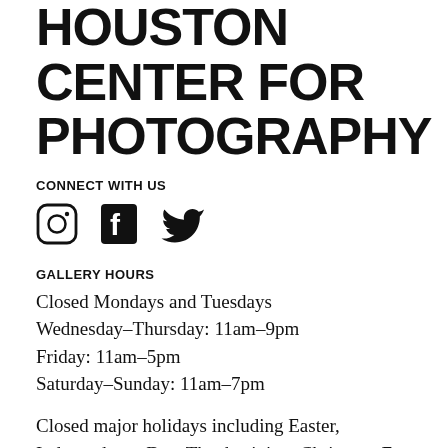HOUSTON CENTER FOR PHOTOGRAPHY
CONNECT WITH US
[Figure (illustration): Three social media icons: Instagram (circle with inner square and dot), Facebook (F logo), Twitter (bird logo)]
GALLERY HOURS
Closed Mondays and Tuesdays
Wednesday–Thursday: 11am–9pm
Friday: 11am–5pm
Saturday–Sunday: 11am–7pm
Closed major holidays including Easter, Independence Day, Thanksgiving, Christmas Eve, Christmas Day, New Year's Eve, and New Year's